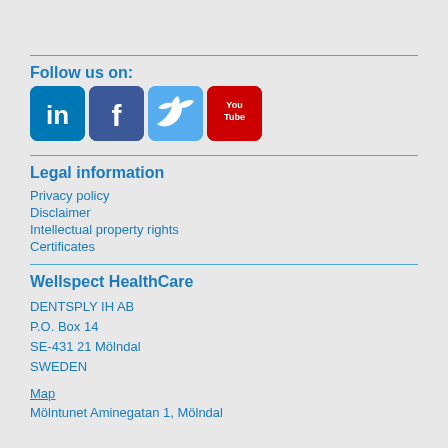Follow us on:
[Figure (illustration): Social media icons: LinkedIn (blue square with 'in'), Facebook (dark blue square with 'f'), Twitter (light blue square with bird), YouTube (red square with 'You Tube')]
Legal information
Privacy policy
Disclaimer
Intellectual property rights
Certificates
Wellspect HealthCare
DENTSPLY IH AB
P.O. Box 14
SE-431 21 Mölndal
SWEDEN
Map
Mölntunet Aminegatan 1, Mölndal